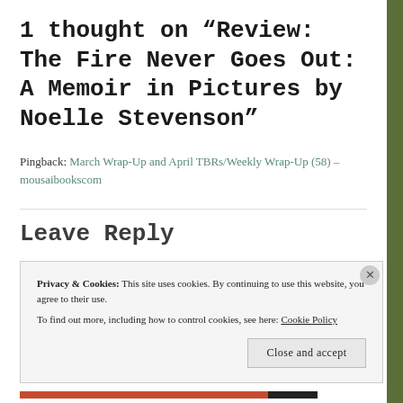1 thought on “Review: The Fire Never Goes Out: A Memoir in Pictures by Noelle Stevenson”
Pingback: March Wrap-Up and April TBRs/Weekly Wrap-Up (58) – mousaibookscom
Privacy & Cookies: This site uses cookies. By continuing to use this website, you agree to their use. To find out more, including how to control cookies, see here: Cookie Policy